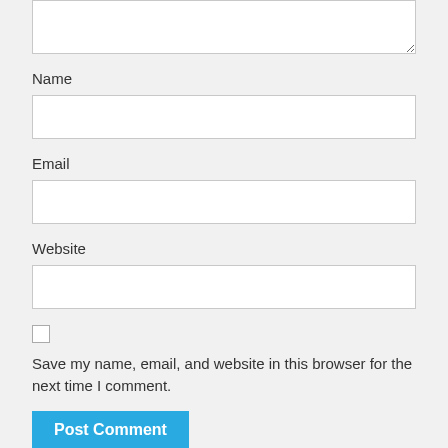[Figure (screenshot): Partial textarea at top of comment form]
Name
[Figure (screenshot): Name text input field]
Email
[Figure (screenshot): Email text input field]
Website
[Figure (screenshot): Website text input field]
Save my name, email, and website in this browser for the next time I comment.
[Figure (screenshot): Post Comment button in blue]